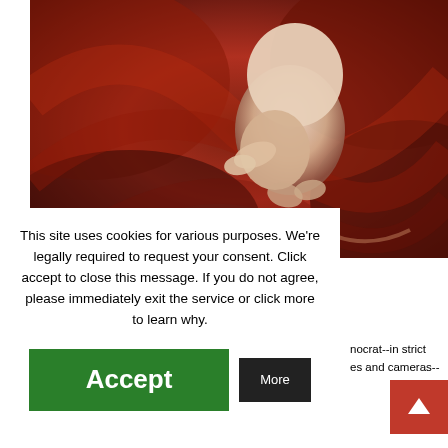[Figure (photo): Close-up photo of a human embryo/fetus in the womb, with reddish-brown tones in the background.]
This site uses cookies for various purposes. We're legally required to request your consent. Click accept to close this message. If you do not agree, please immediately exit the service or click more to learn why.
Accept
More
nocrat--in strict
es and cameras--
High taxes